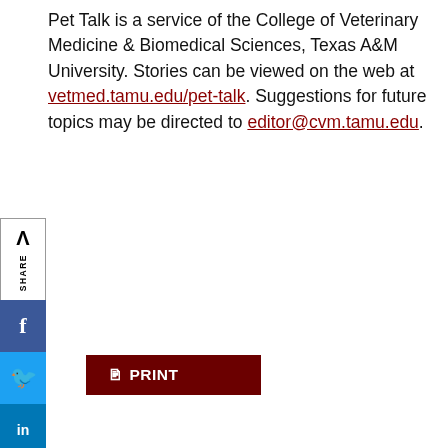Pet Talk is a service of the College of Veterinary Medicine & Biomedical Sciences, Texas A&M University. Stories can be viewed on the web at vetmed.tamu.edu/pet-talk. Suggestions for future topics may be directed to editor@cvm.tamu.edu.
[Figure (screenshot): Social share sidebar with Addthis logo, SHARE label, and buttons for Facebook, Twitter, LinkedIn, and Email]
PRINT
Tags: Brad Bennett, Dogs, pet talk